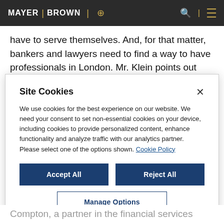MAYER | BROWN
have to serve themselves. And, for that matter, bankers and lawyers need to find a way to have professionals in London. Mr. Klein points out that
Site Cookies
We use cookies for the best experience on our website. We need your consent to set non-essential cookies on your device, including cookies to provide personalized content, enhance functionality and analyze traffic with our analytics partner. Please select one of the options shown. Cookie Policy
Accept All
Reject All
Manage Options
Compton, a partner in the financial services